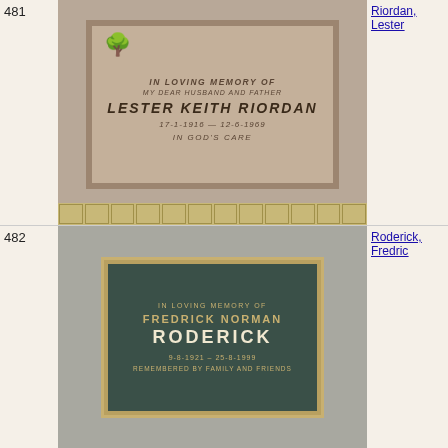481
[Figure (photo): Memorial plaque for Lester Keith Riordan, stone/beige colored plaque with tree emblem reading: IN LOVING MEMORY OF / MY DEAR HUSBAND AND FATHER / LESTER KEITH RIORDAN / 17-1-1916 — 12-6-1969 / IN GOD'S CARE]
Riordan, Lester
482
[Figure (photo): Memorial plaque for Fredrick Norman Roderick, dark teal/green plaque with gold border reading: IN LOVING MEMORY OF / FREDRICK NORMAN / RODERICK / 9-8-1921 – 25-8-1999 / REMEMBERED BY FAMILY AND FRIENDS]
Roderick, Fredric